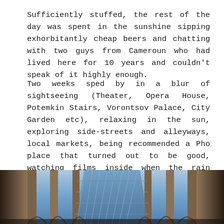Sufficiently stuffed, the rest of the day was spent in the sunshine sipping exhorbitantly cheap beers and chatting with two guys from Cameroun who had lived here for 10 years and couldn't speak of it highly enough.
Two weeks sped by in a blur of sightseeing (Theater, Opera House, Potemkin Stairs, Vorontsov Palace, City Garden etc), relaxing in the sun, exploring side-streets and alleyways, local markets, being recommended a Pho place that turned out to be good, watching films inside when the rain started punishing, watching the football at Mick O' Neills and happening upon a fantastic bar that would be my resting place for the remainder of my time in this slightly odd, but beautiful city.
[Figure (photo): Interior of a grand building with ornate arched architecture and a glass ceiling/roof structure with blue sky visible through it.]